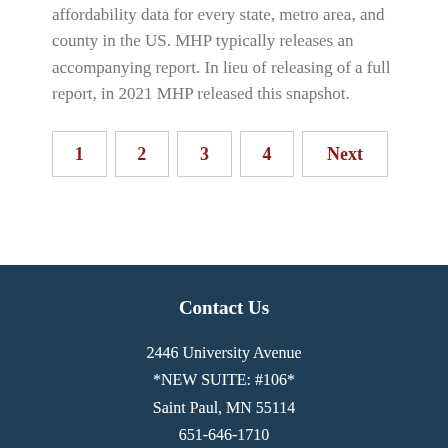affordability data for every state, metro area, and county in the US. MHP typically releases an accompanying report. In lieu of releasing of a full report, in 2021 MHP released this snapshot.
1  2  3  4  Next
Contact Us
2446 University Avenue
*NEW SUITE: #106*
Saint Paul, MN 55114
651-646-1710